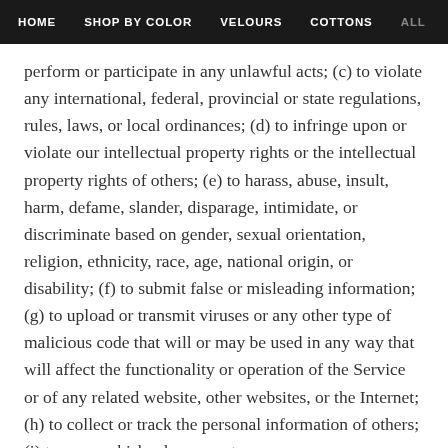HOME   SHOP BY COLOR   VELOURS   COTTONS   ALL
perform or participate in any unlawful acts; (c) to violate any international, federal, provincial or state regulations, rules, laws, or local ordinances; (d) to infringe upon or violate our intellectual property rights or the intellectual property rights of others; (e) to harass, abuse, insult, harm, defame, slander, disparage, intimidate, or discriminate based on gender, sexual orientation, religion, ethnicity, race, age, national origin, or disability; (f) to submit false or misleading information; (g) to upload or transmit viruses or any other type of malicious code that will or may be used in any way that will affect the functionality or operation of the Service or of any related website, other websites, or the Internet; (h) to collect or track the personal information of others; (i) to spam, phish, pharm, pretes or scrape; (j) for any obscene or immoral interfere with or circumvent the security features of the Service or any related website, other websites, or the